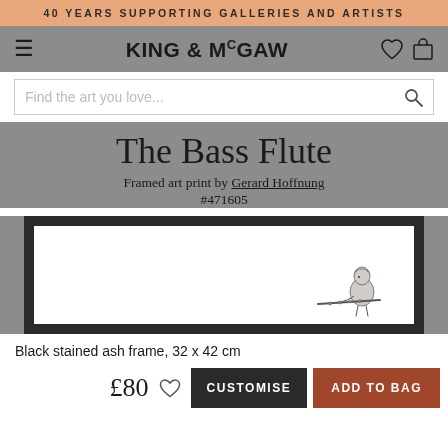40 YEARS SUPPORTING GALLERIES AND ARTISTS
KING & McGAW
Find the art you love...
The Bass Flute
Framed art print by Gerard Hoffnung
#471605
[Figure (illustration): Framed art print showing a black-stained ash frame containing a white interior with a pencil/ink sketch of a small bird or figure playing a flute instrument at the bottom right.]
Black stained ash frame, 32 x 42 cm
£80  CUSTOMISE  ADD TO BAG